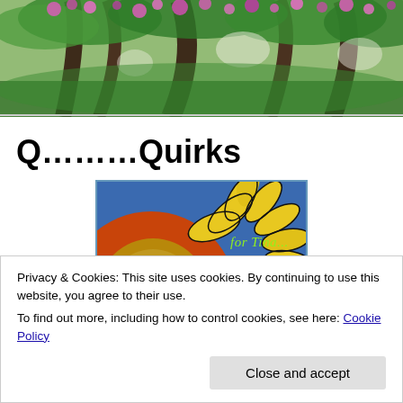[Figure (photo): Header photo of trees with pink/purple flowers and green foliage against a bright sky]
Q………Quirks
[Figure (illustration): Colorful illustration of a sunflower on a blue background with text 'for Tina...' in green]
Privacy & Cookies: This site uses cookies. By continuing to use this website, you agree to their use.
To find out more, including how to control cookies, see here: Cookie Policy
Close and accept